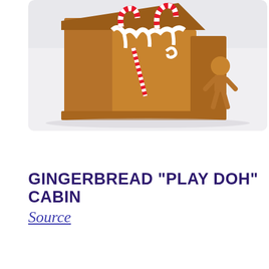[Figure (photo): A gingerbread play doh cabin with candy canes and white icing decoration, with a small gingerbread figure to the right, on a white surface.]
GINGERBREAD "PLAY DOH" CABIN
Source